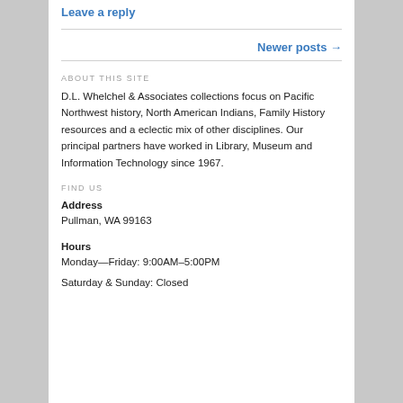Leave a reply
Newer posts →
ABOUT THIS SITE
D.L. Whelchel & Associates collections focus on Pacific Northwest history, North American Indians, Family History resources and a eclectic mix of other disciplines. Our principal partners have worked in Library, Museum and Information Technology since 1967.
FIND US
Address
Pullman, WA 99163
Hours
Monday—Friday: 9:00AM–5:00PM
Saturday & Sunday: Closed